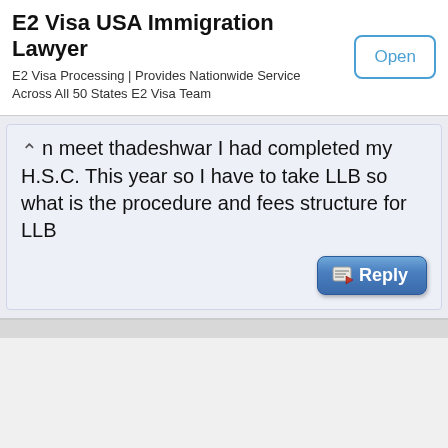E2 Visa USA Immigration Lawyer
E2 Visa Processing | Provides Nationwide Service Across All 50 States E2 Visa Team
n meet thadeshwar I had completed my H.S.C. This year so I have to take LLB so what is the procedure and fees structure for LLB